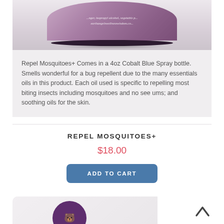[Figure (photo): Bottom portion of a purple/mauve jar with white italic text on label reading ingredients including isopropyl alcohol, vegetable etc., and website earthangelswellnesswisdom.com, with dark rim at bottom and shadow]
Repel Mosquitoes+ Comes in a 4oz Cobalt Blue Spray bottle. Smells wonderful for a bug repellent due to the many essentials oils in this product. Each oil used is specific to repelling most biting insects including mosquitoes and no see ums; and soothing oils for the skin.
REPEL MOSQUITOES+
$18.00
ADD TO CART
[Figure (photo): Bottom portion of a second product - white/cream product container with a circular purple label featuring a white bear icon, partially visible at bottom of page]